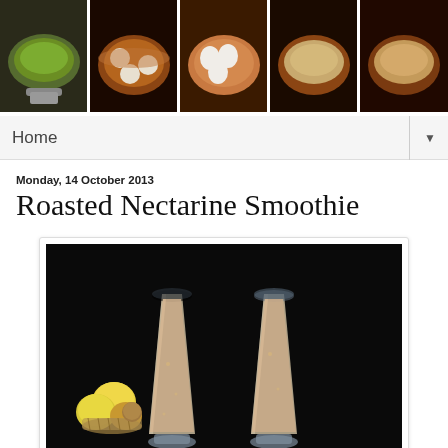[Figure (photo): Horizontal banner strip of 5 food photos: green rice dish, egg curry, boiled eggs, rice pilaf, and mixed rice dish]
Home ▼
Monday, 14 October 2013
Roasted Nectarine Smoothie
[Figure (photo): Two tall frosted glasses filled with creamy beige nectarine smoothie, set against a black background with yellow nectarines in a wicker basket in the background]